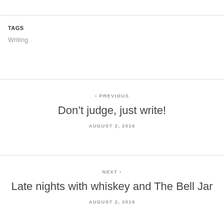TAGS
Writing
‹ PREVIOUS
Don't judge, just write!
AUGUST 2, 2016
NEXT ›
Late nights with whiskey and The Bell Jar
AUGUST 2, 2016